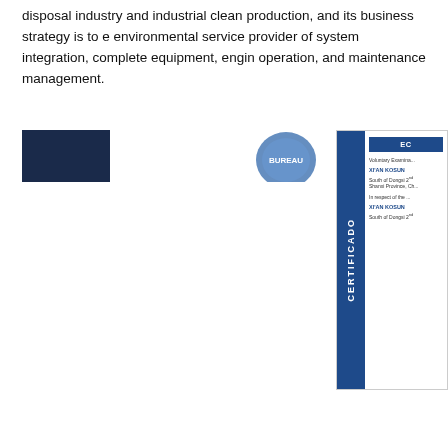disposal industry and industrial clean production, and its business strategy is to e... environmental service provider of system integration, complete equipment, engin... operation, and maintenance management.
[Figure (photo): Dark navy blue rectangular logo/image placeholder]
[Figure (photo): Circular emblem or seal, partially visible, blue color]
[Figure (photo): Certificate document with blue sidebar labeled CERTIFICADO. Header reads EC... Voluntary Examination for XI'AN KOSUN, South of Dongsi 2nd, Shanxi Province, China. In respect of the XI'AN KOSUN South of Dongsi 2nd.]